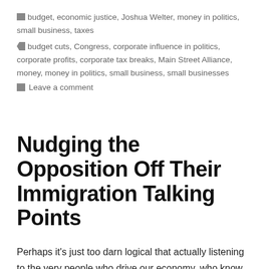budget, economic justice, Joshua Welter, money in politics, small business, taxes
budget cuts, Congress, corporate influence in politics, corporate profits, corporate tax breaks, Main Street Alliance, money, money in politics, small business, small businesses
Leave a comment
Nudging the Opposition Off Their Immigration Talking Points
Perhaps it's just too darn logical that actually listening to the very people who drive our economy, who know